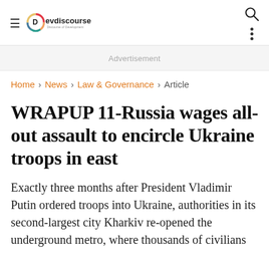Devdiscourse – Discourse of Development
Advertisement
Home › News › Law & Governance › Article
WRAPUP 11-Russia wages all-out assault to encircle Ukraine troops in east
Exactly three months after President Vladimir Putin ordered troops into Ukraine, authorities in its second-largest city Kharkiv re-opened the underground metro, where thousands of civilians